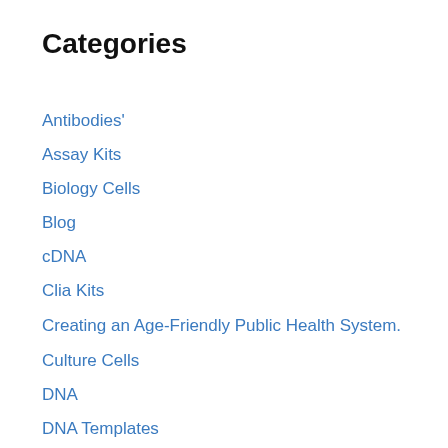Categories
Antibodies'
Assay Kits
Biology Cells
Blog
cDNA
Clia Kits
Creating an Age-Friendly Public Health System.
Culture Cells
DNA
DNA Templates
Elisa Kits